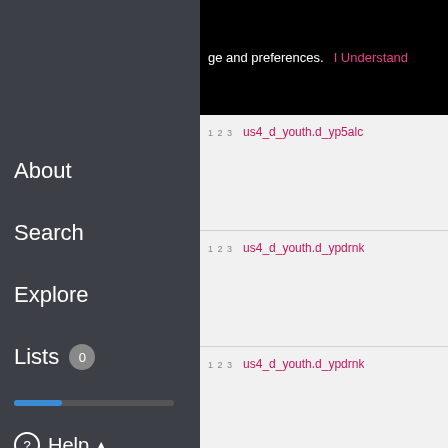ge and preferences.   I Understand
About
Search
Explore
Lists 0
us4_d_youth.d_yp5alc
us4_d_youth.d_ypdrnk
us4_d_youth.d_ypdrnk
us4_d_youth.d_ypdrnk